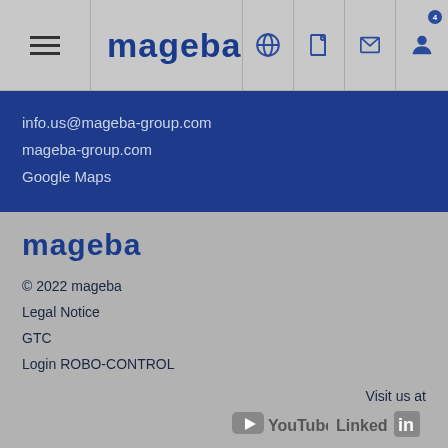[Figure (logo): mageba website navigation bar with hamburger menu, mageba logo, globe icon, document icon, email icon, and user icon with badge showing 4]
info.us@mageba-group.com
mageba-group.com
Google Maps
[Figure (logo): mageba logo in dark blue]
© 2022 mageba
Legal Notice
GTC
Login ROBO-CONTROL
Visit us at
[Figure (logo): YouTube logo and LinkedIn logo social media icons]